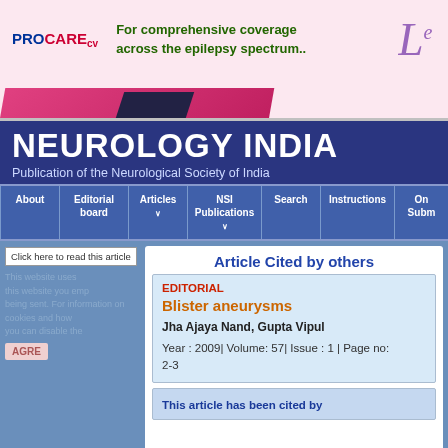[Figure (photo): PROCARE CV advertisement banner with pink background, green bold text 'For comprehensive coverage across the epilepsy spectrum..', partial Le logo on right]
NEUROLOGY INDIA
Publication of the Neurological Society of India
[Figure (screenshot): Navigation bar with About, Editorial board, Articles, NSI Publications, Search, Instructions, Online Submit tabs]
Click here to read this article
Article Cited by others
EDITORIAL
Blister aneurysms
Jha Ajaya Nand, Gupta Vipul
Year : 2009| Volume: 57| Issue : 1 | Page no: 2-3
This article has been cited by